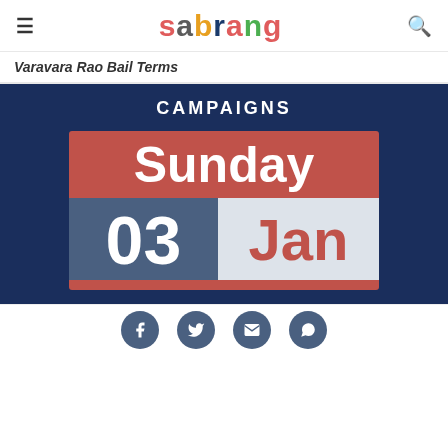sabrang
Varavara Rao Bail Terms
CAMPAIGNS
[Figure (illustration): Calendar icon showing Sunday, 03 Jan]
Social media icons: Facebook, Twitter, Email, WhatsApp